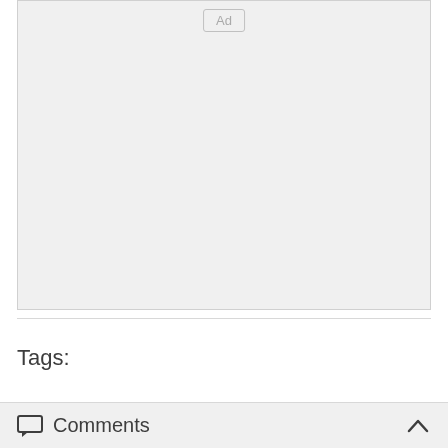[Figure (other): Advertisement placeholder box with 'Ad' label button in upper center]
Tags:
Comments